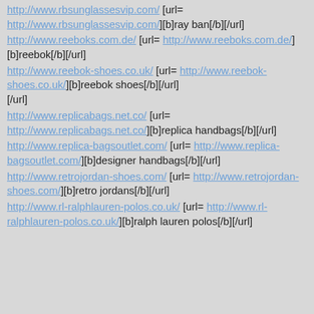http://www.rbsunglassesvip.com/ [url= http://www.rbsunglassesvip.com/][b]ray ban[/b][/url]
http://www.reeboks.com.de/ [url= http://www.reeboks.com.de/][b]reebok[/b][/url]
http://www.reebok-shoes.co.uk/ [url= http://www.reebok-shoes.co.uk/][b]reebok shoes[/b][/url]
http://www.replicabags.net.co/ [url= http://www.replicabags.net.co/][b]replica handbags[/b][/url]
http://www.replica-bagsoutlet.com/ [url= http://www.replica-bagsoutlet.com/][b]designer handbags[/b][/url]
http://www.retrojordan-shoes.com/ [url= http://www.retrojordan-shoes.com/][b]retro jordans[/b][/url]
http://www.rl-ralphlauren-polos.co.uk/ [url= http://www.rl-ralphlauren-polos.co.uk/][b]ralph lauren polos[/b][/url]